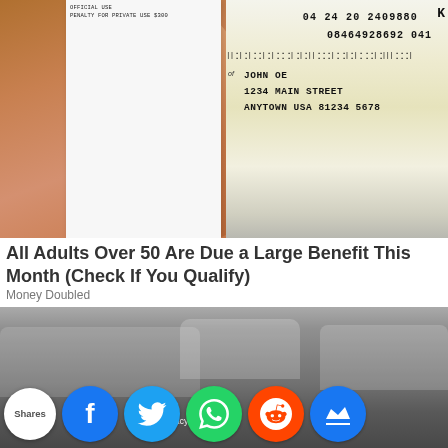[Figure (photo): A hand holding an official government envelope/piece of mail. The envelope shows text 'OFFICIAL USE PENALTY FOR PRIVATE USE $300' on the left portion. The right portion shows a yellow address label with numbers '04 24 20 2409880', '08464928692 041', a barcode strip, and address 'JOHN OE, 1234 MAIN STREET, ANYTOWN USA 81234 5678'. A 'K' appears top right. The hand/thumb fills the left portion of the photo.]
All Adults Over 50 Are Due a Large Benefit This Month (Check If You Qualify)
Money Doubled
[Figure (photo): A parking lot or street scene showing multiple cars, some covered with protective covers. Social media share buttons are overlaid at the bottom: a white circle labeled 'Shares', followed by colored circular icons for Facebook (blue, 'f'), Twitter (light blue, bird), WhatsApp (green, phone), Reddit (orange, alien), and another blue icon (crown). Partial text 'ivacy & es Pol' visible (truncated privacy/cookies policy text).]